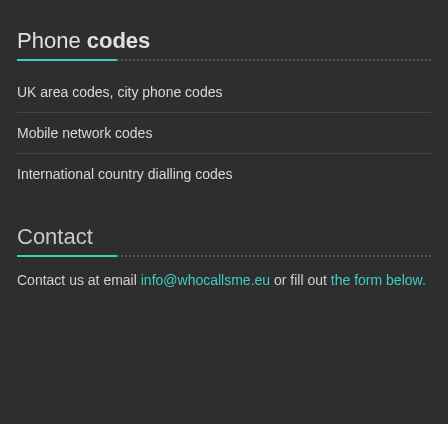Phone codes
UK area codes, city phone codes
Mobile network codes
International country dialling codes
Contact
Contact us at email info@whocallsme.eu or fill out the form below.